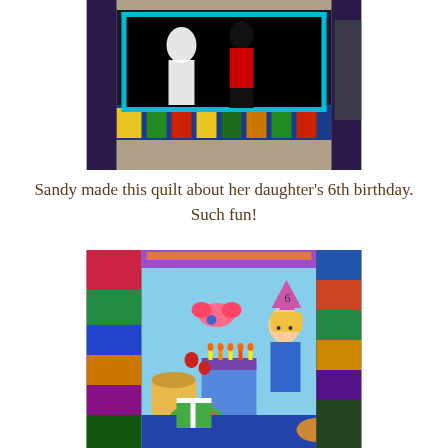[Figure (photo): Photo of a colorful quilt displayed hanging, featuring silhouettes of children on a black background with a vibrant patchwork border of geometric shapes in blue, yellow, red, and green.]
Sandy made this quilt about her daughter's 6th birthday. Such fun!
[Figure (photo): Close-up photo of a colorful birthday quilt showing a girl with blonde hair wearing a blue dress and party hat with a '6' on it, surrounded by a birthday cake with candles, strawberries, watermelon, fruits, and a puppy, with a bright patchwork border.]